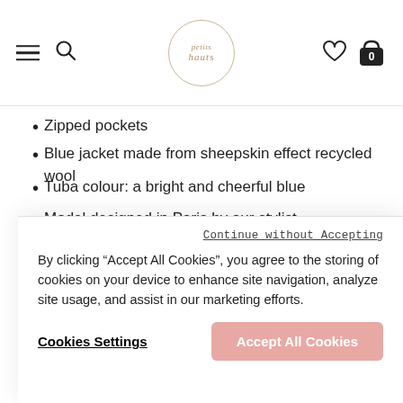petits hauts — navigation header with logo, hamburger, search, heart and cart icons
Zipped pockets
Blue jacket made from sheepskin effect recycled wool
Tuba colour: a bright and cheerful blue
Model designed in Paris by our stylist
Made in Europe
Length: 58 cm for a size 1
Vitoria measures 1.80m and is wearing size 1
PAYMENT IN 2 OR 3 TIMES WITHOUT FEES
Continue without Accepting
By clicking “Accept All Cookies”, you agree to the storing of cookies on your device to enhance site navigation, analyze site usage, and assist in our marketing efforts.
Cookies Settings
Accept All Cookies